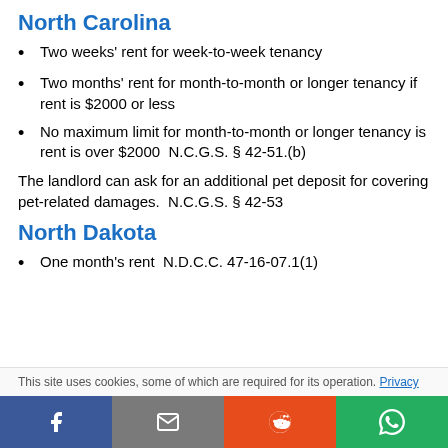North Carolina
Two weeks' rent for week-to-week tenancy
Two months' rent for month-to-month or longer tenancy if rent is $2000 or less
No maximum limit for month-to-month or longer tenancy is rent is over $2000  N.C.G.S. § 42-51.(b)
The landlord can ask for an additional pet deposit for covering pet-related damages.  N.C.G.S. § 42-53
North Dakota
One month's rent  N.D.C.C. 47-16-07.1(1)
This site uses cookies, some of which are required for its operation. Privacy